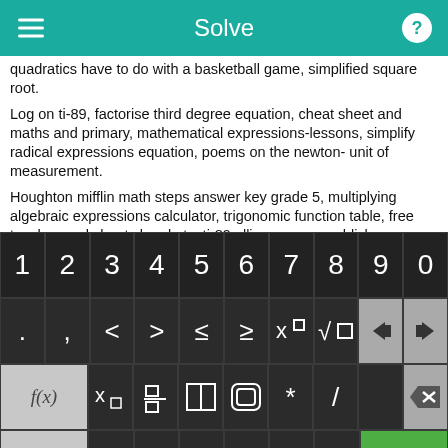Solve
quadratics have to do with a basketball game, simplified square root.
Log on ti-89, factorise third degree equation, cheat sheet and maths and primary, mathematical expressions-lessons, simplify radical expressions equation, poems on the newton- unit of measurement.
Houghton mifflin math steps answer key grade 5, multiplying algebraic expressions calculator, trigonomic function table, free teacher worksheets brackets, ti-89 ellipse, saxon publishers
[Figure (screenshot): A math keyboard interface with rows of keys: digits 1-9 and 0; symbols including period, comma, <, >, ≤, ≥, x^□, √□, backspace left/right arrows; function keys f(x), x□, fraction, absolute value, grouping, *, /, delete; bottom row with abc, rotate, x, y, =, +, -, and Solve! button in green.]